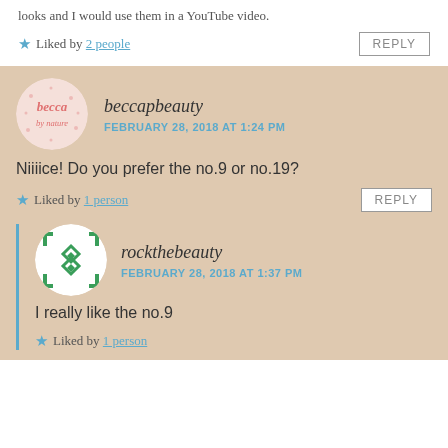looks and I would use them in a YouTube video.
★ Liked by 2 people
REPLY
[Figure (illustration): Circular avatar for beccapbeauty with pink cursive text on light pink dotted background]
beccapbeauty
FEBRUARY 28, 2018 AT 1:24 PM
Niiiice! Do you prefer the no.9 or no.19?
★ Liked by 1 person
REPLY
[Figure (illustration): Circular avatar for rockthebeauty with green geometric pattern on white background]
rockthebeauty
FEBRUARY 28, 2018 AT 1:37 PM
I really like the no.9
★ Liked by 1 person